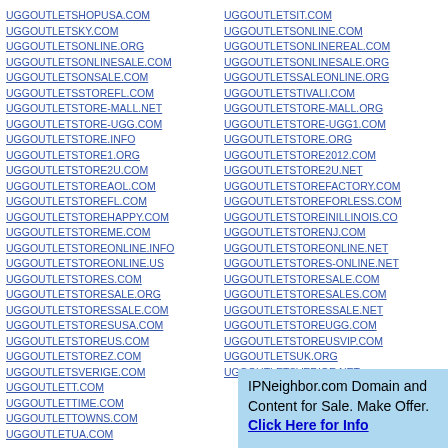UGGOUTLETSHOPUSA.COM
UGGOUTLETSKY.COM
UGGOUTLETSONLINE.ORG
UGGOUTLETSONLINESALE.COM
UGGOUTLETSONSALE.COM
UGGOUTLETSSTOREFL.COM
UGGOUTLETSTORE-MALL.NET
UGGOUTLETSTORE-UGG.COM
UGGOUTLETSTORE.INFO
UGGOUTLETSTORE1.ORG
UGGOUTLETSTORE2U.COM
UGGOUTLETSTOREAOL.COM
UGGOUTLETSTOREFL.COM
UGGOUTLETSTOREHAPPY.COM
UGGOUTLETSTOREME.COM
UGGOUTLETSTOREONLINE.INFO
UGGOUTLETSTOREONLINE.US
UGGOUTLETSTORES.COM
UGGOUTLETSTORESALE.ORG
UGGOUTLETSTORESSALE.COM
UGGOUTLETSTORESUSA.COM
UGGOUTLETSTOREUS.COM
UGGOUTLETSTOREZ.COM
UGGOUTLETSVERIGE.COM
UGGOUTLETT.COM
UGGOUTLETTIME.COM
UGGOUTLETTOWNS.COM
UGGOUTLETUA.COM
UGGOUTLETSIT.COM
UGGOUTLETSONLINE.COM
UGGOUTLETSONLINEREAL.COM
UGGOUTLETSONLINESALE.ORG
UGGOUTLETSSALEONLINE.ORG
UGGOUTLETSTIVALI.COM
UGGOUTLETSTORE-MALL.ORG
UGGOUTLETSTORE-UGG1.COM
UGGOUTLETSTORE.ORG
UGGOUTLETSTORE2012.COM
UGGOUTLETSTORE2U.NET
UGGOUTLETSTOREFACTORY.COM
UGGOUTLETSTOREFORLESS.COM
UGGOUTLETSTOREINILLINOIS.COM
UGGOUTLETSTORENJ.COM
UGGOUTLETSTOREONLINE.NET
UGGOUTLETSTORES-ONLINE.NET
UGGOUTLETSTORESALE.COM
UGGOUTLETSTORESALES.COM
UGGOUTLETSTORESSALE.NET
UGGOUTLETSTOREUGG.COM
UGGOUTLETSTOREUSVIP.COM
UGGOUTLETSUK.ORG
UGGOUTLETSVERIGE.NET
IPNeighbor.com Domain and Content for Sale. Make Offer. Click Here for Info